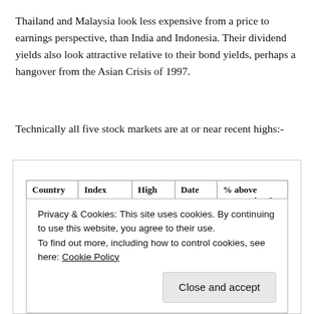Thailand and Malaysia look less expensive from a price to earnings perspective, than India and Indonesia. Their dividend yields also look attractive relative to their bond yields, perhaps a hangover from the Asian Crisis of 1997.
Technically all five stock markets are at or near recent highs:-
| Country | Index | High | Date | % above current level |
| --- | --- | --- | --- | --- |
| India | SENSEX | 29,681 | Jan-15 | 2.8 |
Privacy & Cookies: This site uses cookies. By continuing to use this website, you agree to their use.
To find out more, including how to control cookies, see here: Cookie Policy